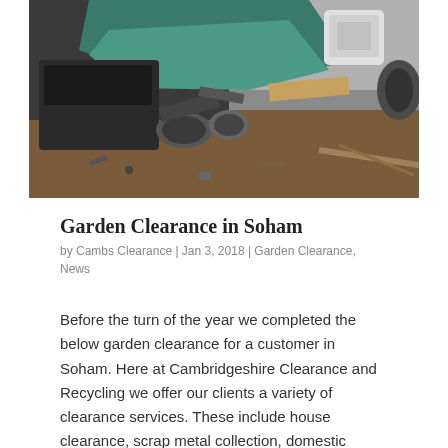[Figure (photo): Photograph of a pile of discarded junk and scrap items outdoors, including machinery parts, metal pieces, and various debris covered partially with a teal/green tarp, on a dirt ground.]
Garden Clearance in Soham
by Cambs Clearance | Jan 3, 2018 | Garden Clearance, News
Before the turn of the year we completed the below garden clearance for a customer in Soham. Here at Cambridgeshire Clearance and Recycling we offer our clients a variety of clearance services. These include house clearance, scrap metal collection, domestic clearance,...